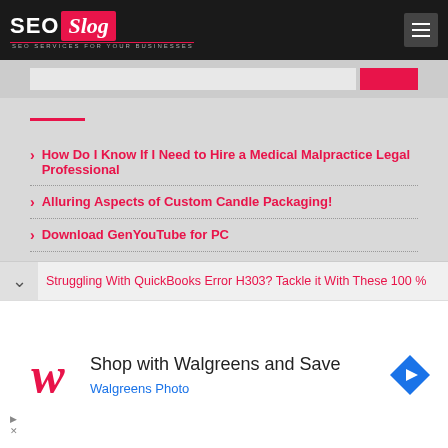SEO Slog — SEO SERVICES FOR YOUR BUSINESSES
How Do I Know If I Need to Hire a Medical Malpractice Legal Professional
Alluring Aspects of Custom Candle Packaging!
Download GenYouTube for PC
Struggling With QuickBooks Error H303? Tackle it With These 100 %
[Figure (other): Walgreens advertisement banner: Shop with Walgreens and Save, Walgreens Photo]